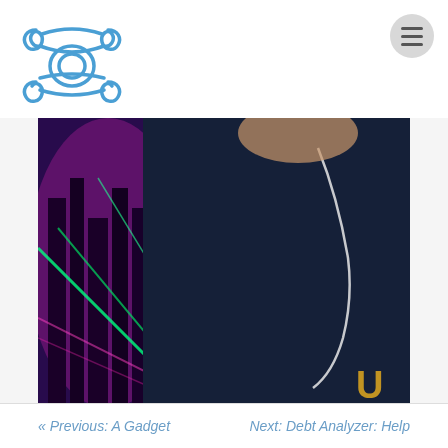[Logo] [Hamburger menu]
[Figure (photo): Person wearing dark navy shirt with yellow logo, earphones, standing in front of colorful neon city lights background with green and pink/magenta lighting]
I'm certain you have learned one thing or another about this piece that should help in your search for day trading company or any other e mini day trading, free online stock trading, stock traders almanac 2005,online trading platform.
So here is chance to get your free tips on day trading company and in addition to that get basic information on saving money visit e mini day trading
« Previous: A Gadget   Next: Debt Analyzer: Help